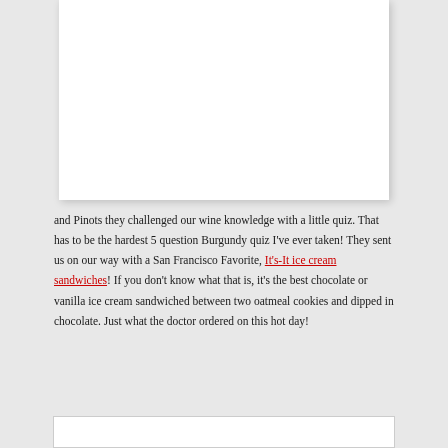[Figure (photo): White rectangular image placeholder/photo area with drop shadow]
and Pinots they challenged our wine knowledge with a little quiz. That has to be the hardest 5 question Burgundy quiz I've ever taken!  They sent us on our way with a San Francisco Favorite, It's-It ice cream sandwiches!  If you don't know what that is, it's the best chocolate or vanilla ice cream sandwiched between two oatmeal cookies and dipped in chocolate.  Just what the doctor ordered on this hot day!
[Figure (photo): Bottom white card/box outline, partially visible]